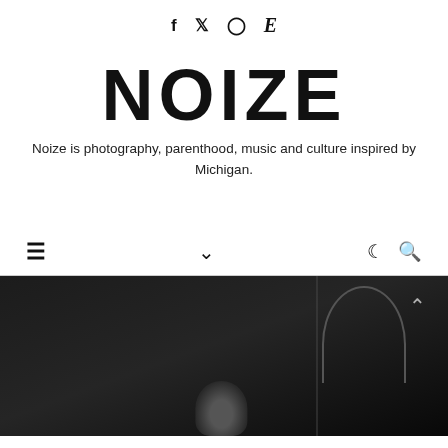f  twitter  instagram  E
NOIZE
Noize is photography, parenthood, music and culture inspired by Michigan.
[Figure (screenshot): Navigation bar with hamburger menu icon on left, chevron/arrow down in center, moon icon and search icon on right]
[Figure (photo): Black and white photograph showing a person partially visible at bottom, with architectural arch element visible on the right side, and an upward arrow chevron icon at top right]